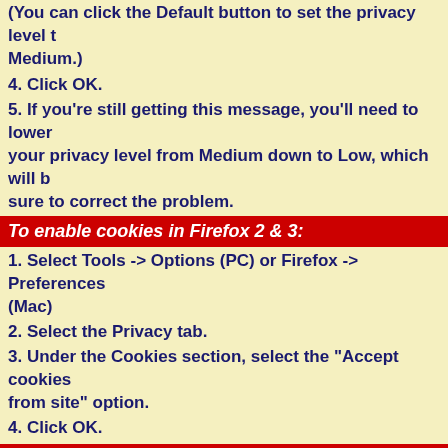(You can click the Default button to set the privacy level to Medium.)
4. Click OK.
5. If you're still getting this message, you'll need to lower your privacy level from Medium down to Low, which will be sure to correct the problem.
To enable cookies in Firefox 2 & 3:
1. Select Tools -> Options (PC) or Firefox -> Preferences (Mac)
2. Select the Privacy tab.
3. Under the Cookies section, select the "Accept cookies from site" option.
4. Click OK.
To enable cookies in Safari:
1. Select the Gear Icon -> Preferences (PC) or Safari -> Preferences (Mac)